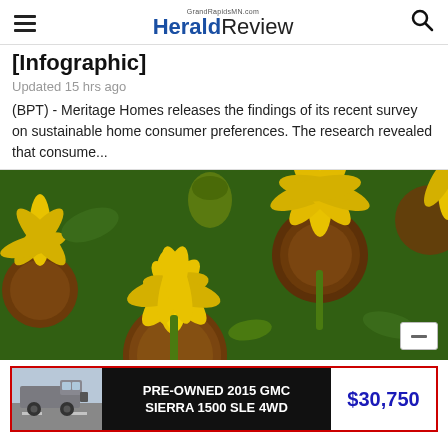GrandRapidsMN.com HeraldReview
[Infographic]
Updated 15 hrs ago
(BPT) - Meritage Homes releases the findings of its recent survey on sustainable home consumer preferences. The research revealed that consume...
[Figure (photo): Close-up photo of yellow coneflowers (echinacea) with brown centers, with green foliage in the background.]
[Figure (infographic): Advertisement banner: Pre-owned 2015 GMC Sierra 1500 SLE 4WD for $30,750, with photo of a grey truck.]